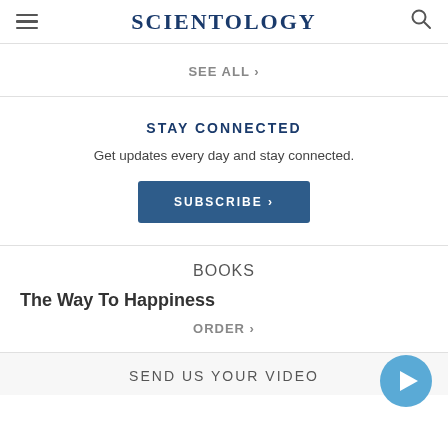SCIENTOLOGY
SEE ALL >
STAY CONNECTED
Get updates every day and stay connected.
SUBSCRIBE >
BOOKS
The Way To Happiness
ORDER >
SEND US YOUR VIDEO